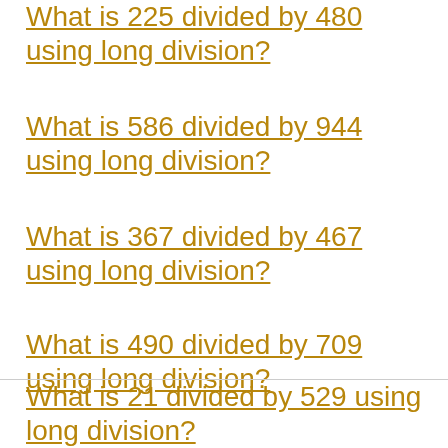What is 225 divided by 480 using long division?
What is 586 divided by 944 using long division?
What is 367 divided by 467 using long division?
What is 490 divided by 709 using long division?
What is 876 divided by 1000 using long division?
What is 21 divided by 529 using long division?